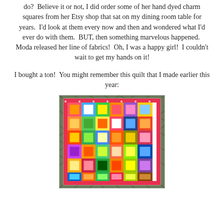do?  Believe it or not, I did order some of her hand dyed charm squares from her Etsy shop that sat on my dining room table for years.  I'd look at them every now and then and wondered what I'd ever do with them.  BUT, then something marvelous happened.  Moda released her line of fabrics!  Oh, I was a happy girl!  I couldn't wait to get my hands on it!
I bought a ton!  You might remember this quilt that I made earlier this year:
[Figure (photo): A colorful patchwork quilt displayed hanging on a chain-link fence outdoors. The quilt features many bright square blocks in various colors including red, orange, yellow, green, blue, and pink, with different fabric patterns. The background shows bare trees and grass.]